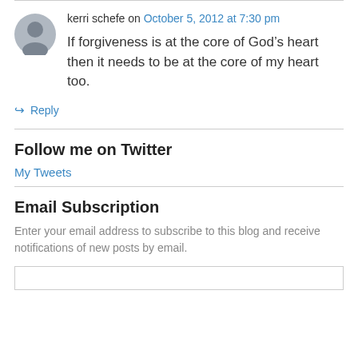kerri schefe on October 5, 2012 at 7:30 pm
If forgiveness is at the core of God’s heart then it needs to be at the core of my heart too.
↳ Reply
Follow me on Twitter
My Tweets
Email Subscription
Enter your email address to subscribe to this blog and receive notifications of new posts by email.